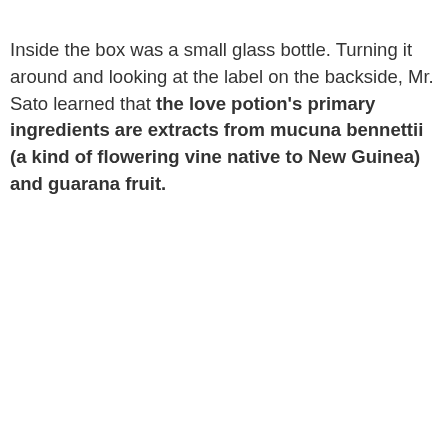Inside the box was a small glass bottle. Turning it around and looking at the label on the backside, Mr. Sato learned that the love potion's primary ingredients are extracts from mucuna bennettii (a kind of flowering vine native to New Guinea) and guarana fruit.